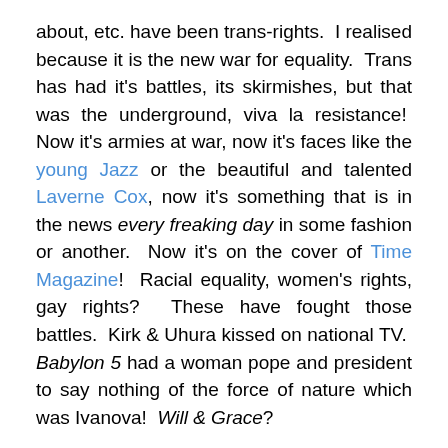about, etc. have been trans-rights.  I realised because it is the new war for equality.  Trans has had it's battles, its skirmishes, but that was the underground, viva la resistance!  Now it's armies at war, now it's faces like the young Jazz or the beautiful and talented Laverne Cox, now it's something that is in the news every freaking day in some fashion or another.  Now it's on the cover of Time Magazine!  Racial equality, women's rights, gay rights?  These have fought those battles.  Kirk & Uhura kissed on national TV.  Babylon 5 had a woman pope and president to say nothing of the force of nature which was Ivanova!  Will & Grace?
Legally these wars are won.  Note, though, I said legally.  The need for an equal pay act isn't a question of legal victory, it's the get legal protection from a social ill.  It'd be